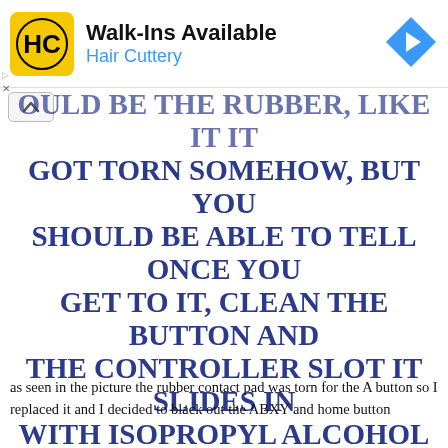[Figure (logo): Hair Cuttery advertisement banner with HC logo in yellow square, title 'Walk-Ins Available', subtitle 'Hair Cuttery' in blue, and a blue diamond arrow icon on the right]
OULD BE THE RUBBER, LIKE IT IT GOT TORN SOMEHOW, BUT YOU SHOULD BE ABLE TO TELL ONCE YOU GET TO IT, CLEAN THE BUTTON AND THE CONTROLLER SLOT IT SLIDES IN WITH ISOPROPYL ALCOHOL AND MAKE SURE NOTHING'S STICKY THEN PUT IT BACK TOGETHER ENOUGH TO TEST IT A LITTLE
as seen in the picture the rubber contact pad was torn for the A button so I replaced it and I decided to black out the ABXY and home button